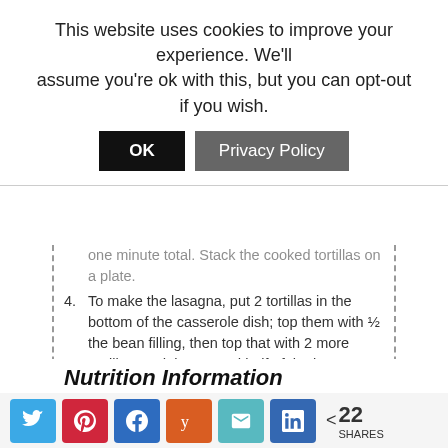This website uses cookies to improve your experience. We'll assume you're ok with this, but you can opt-out if you wish.
OK | Privacy Policy
(partial) one minute total. Stack the cooked tortillas on a plate.
4. To make the lasagna, put 2 tortillas in the bottom of the casserole dish; top them with ½ the bean filling, then top that with 2 more tortillas, and the second half of the bean filling. Top it with the final 2 tortillas. Press down with a spatula on the top tortillas to seal the layers.
5. Bake the lasagna, uncovered, for 10-12 minutes until it is heated through. Cut it into squares with a pizza cutter or serrated knife to serve.
6. While the lasagna is baking, in a medium bowl, gently toss the diced avocado and tomatoes with the lime juice and salt. Top the lasagna squares with the avocado salsa at the table.
7. SERVE WITH BLUEBERRIES OR RASPBERRIES
8. Serve it with ½ - 1 lb. of fresh blueberries, raspberries, or your favorite berries.
Nutrition Information
< 22 SHARES (social share bar)